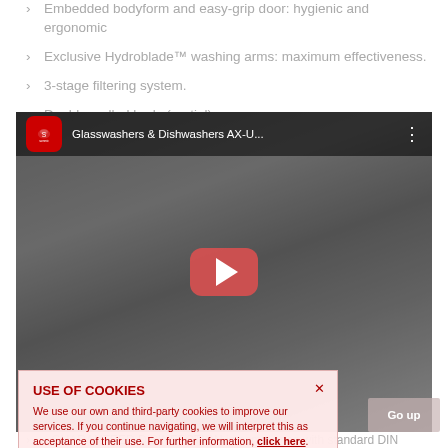Embedded bodyform and easy-grip door: hygienic and ergonomic
Exclusive Hydroblade™ washing arms: maximum effectiveness.
3-stage filtering system.
Double-walled body (partial).
[Figure (screenshot): YouTube video embed showing Glasswashers & Dishwashers AX-U... with Sammic logo and play button over a dishwasher image]
USE OF COOKIES
We use our own and third-party cookies to improve our services. If you continue navigating, we will interpret this as acceptance of their use. For further information, click here.
GUARANTEED DISINFECTION in compliance with standard DIN